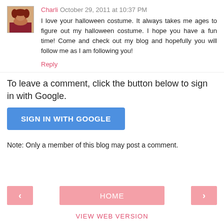Charli October 29, 2011 at 10:37 PM
I love your halloween costume. It always takes me ages to figure out my halloween costume. I hope you have a fun time! Come and check out my blog and hopefully you will follow me as I am following you!
Reply
To leave a comment, click the button below to sign in with Google.
[Figure (other): Blue 'SIGN IN WITH GOOGLE' button]
Note: Only a member of this blog may post a comment.
[Figure (other): Navigation bar with left arrow, HOME button, right arrow, and VIEW WEB VERSION link]